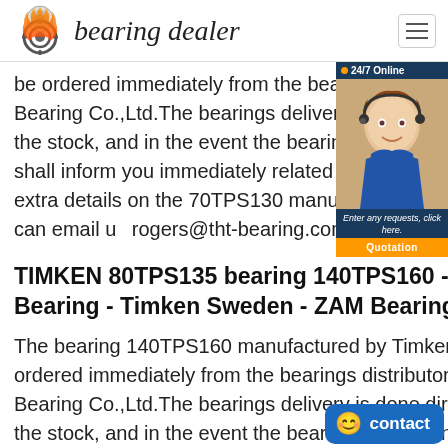bearing dealer
be ordered immediately from the bearings distributor GDO Bearing Co.,Ltd.The bearings delivery is done directly from the stock, and in the event the bearings are not in stock, we shall inform you immediately related to the delivery term. For extra details on the 70TPS130 manufactured by Timken you can email us rogers@tht-bearing.com.
[Figure (photo): 24/7 Online customer service widget with a woman wearing a headset, with 'Enter any requests, click here.' text and a Quotation button]
TIMKEN 80TPS135 bearing 140TPS160 - Timken Bearing - Timken Sweden - ZAM Bearing
The bearing 140TPS160 manufactured by Timken can be ordered immediately from the bearings distributor ZAM Bearing Co.,Ltd.The bearings delivery is done directly from the stock, and in the event the bearings are not in stock, we shall inform you immediately related to the delivery term. For extra details on the 140TPS160 manufactured by Timken you can email us rogers@tht-bearing.com.
[Figure (other): Contact button at bottom right with smiley face icon and 'contact' text]